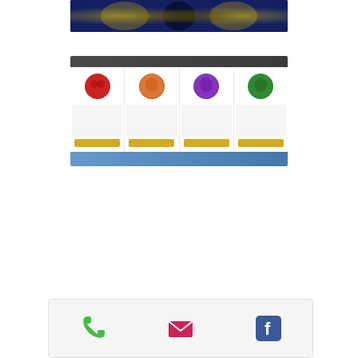[Figure (photo): Blurry dark blue background photo showing colorful figures or characters with gold/yellow accents, possibly a sports or entertainment event]
[Figure (screenshot): A screenshot of a product or character selection grid with a dark header bar, four colorful circular icons (red, orange, purple, green) representing characters or categories, gold labels below each, and a blue footer bar]
[Figure (other): Footer bar with three icons: green phone icon, red/pink email envelope icon, and blue Facebook icon]